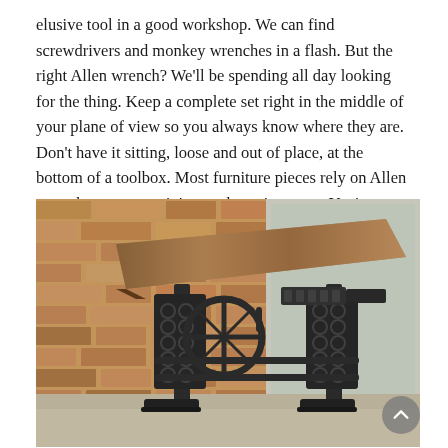elusive tool in a good workshop. We can find screwdrivers and monkey wrenches in a flash. But the right Allen wrench? We'll be spending all day looking for the thing. Keep a complete set right in the middle of your plane of view so you always know where they are. Don't have it sitting, loose and out of place, at the bottom of a toolbox. Most furniture pieces rely on Allen wrenches to secure joints and moving parts. You're going to need to know where they are.
[Figure (photo): Industrial-style adjustable drafting desk with a wooden top surface tilted at an angle, supported by ornate black cast-iron legs with circular cutout patterns and a large hand-crank wheel mechanism. The desk is photographed in front of a rustic brick wall with natural light coming from the right side.]